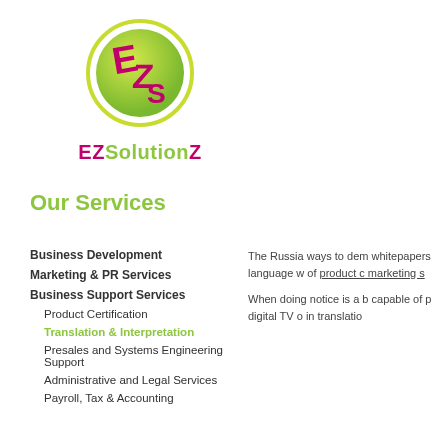[Figure (logo): EZSolutionS company logo - green circle with pink/magenta stylized letters inside, with 'EZSolutionS' text below in green and pink]
Our Services
Business Development
Marketing & PR Services
Business Support Services
Product Certification
Translation & Interpretation
Presales and Systems Engineering Support
Administrative and Legal Services
Payroll, Tax & Accounting
The Russia... ways to dem... whitepapers... language w... of product d... marketing s...
When doing... notice is a b... capable of p... digital TV o... in translatio...